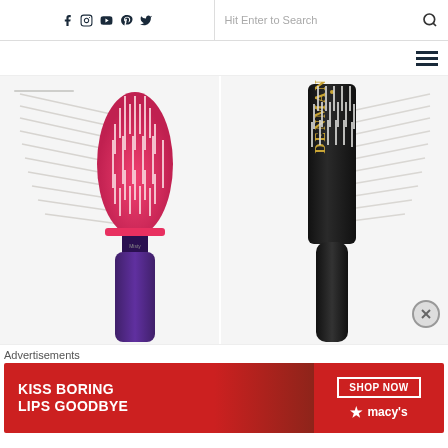f [instagram] [youtube] [pinterest] [twitter] | Hit Enter to Search [search icon]
[Figure (photo): Two hair brushes side by side: left is a pink and black vent brush, right is a black Denman brush with gold branding text]
Advertisements
[Figure (photo): Advertisement banner: KISS BORING LIPS GOODBYE with SHOP NOW button and Macy's star logo on red background]